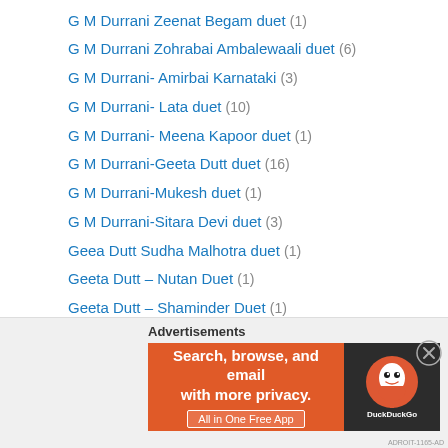G M Durrani Zeenat Begam duet (1)
G M Durrani Zohrabai Ambalewaali duet (6)
G M Durrani- Amirbai Karnataki (3)
G M Durrani- Lata duet (10)
G M Durrani- Meena Kapoor duet (1)
G M Durrani-Geeta Dutt duet (16)
G M Durrani-Mukesh duet (1)
G M Durrani-Sitara Devi duet (3)
Geea Dutt Sudha Malhotra duet (1)
Geeta Dutt – Nutan Duet (1)
Geeta Dutt – Shaminder Duet (1)
Geeta Dutt Mubarak Begam duet (1)
Geeta Dutt S Balbir duet (3)
Geeta Dutt Shankar Dasgupta duet (3)
Geeta Dutt Sulochana Kadam duet (2)
Geeta Dutt Usha Mangeshkar duet (2)
[Figure (screenshot): DuckDuckGo advertisement banner: orange background with text 'Search, browse, and email with more privacy. All in One Free App' and DuckDuckGo logo on dark right panel]